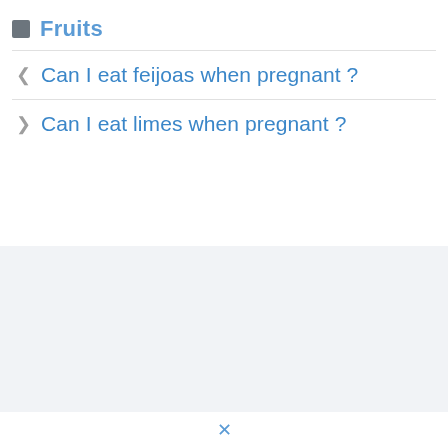Fruits
Can I eat feijoas when pregnant ?
Can I eat limes when pregnant ?